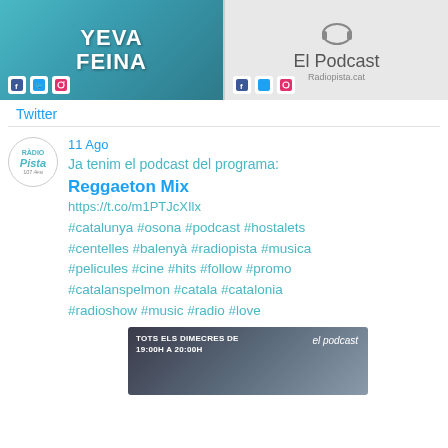[Figure (screenshot): Two radio program images side by side: left shows 'YEVA FEINA' text on blue/teal background with social media icons; right shows 'El Podcast' with headphone graphic and radiopista.cat URL with social media icons]
Twitter
[Figure (screenshot): Twitter post from Radio Pista 107.4 FM dated 11 Ago: 'Ja tenim el podcast del programa: Reggaeton Mix https://t.co/m1PTJcXIlx #catalunya #osona #podcast #hostalets #centelles #balenyà #radiopista #musica #pelicules #cine #hits #follow #promo #catalanspelmon #catala #catalonia #radioshow #music #radio #love' with an image of podcast thumbnail 'TOTS ELS DIMECRES DE 19:00H A 20:00H el podcast']